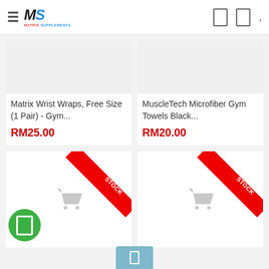Matrix Supplements store header with logo and navigation icons
Matrix Wrist Wraps, Free Size (1 Pair) - Gym...
RM25.00
MuscleTech Microfiber Gym Towels Black...
RM20.00
[Figure (screenshot): Product image placeholder - out of stock with ribbon]
[Figure (screenshot): Product image placeholder - out of stock with ribbon]